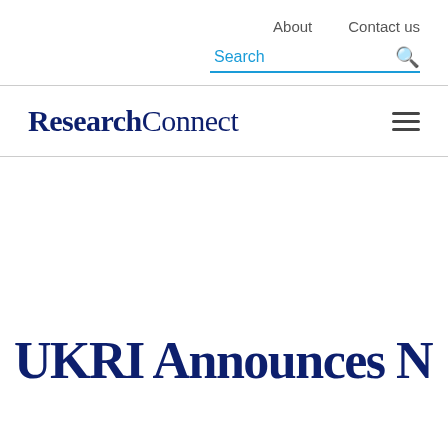About   Contact us
Search
ResearchConnect
UKRI Announces No...